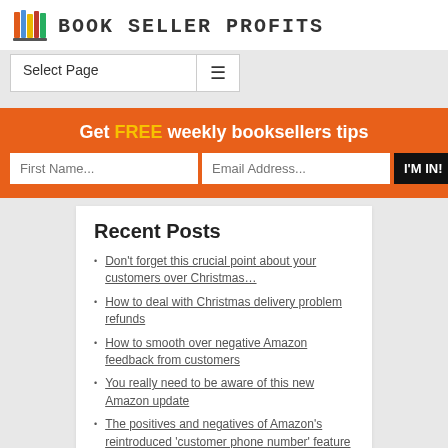BOOK SELLER PROFITS
Select Page
Get FREE weekly booksellers tips
First Name...
Email Address...
I'M IN!
Recent Posts
Don't forget this crucial point about your customers over Christmas…
How to deal with Christmas delivery problem refunds
How to smooth over negative Amazon feedback from customers
You really need to be aware of this new Amazon update
The positives and negatives of Amazon's reintroduced 'customer phone number' feature